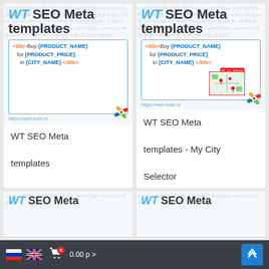[Figure (screenshot): WT SEO Meta templates product card with Joomla logo and code template box]
WT SEO Meta templates
[Figure (screenshot): WT SEO Meta templates - My City Selector product card with map thumbnail and Joomla logo]
WT SEO Meta templates - My City Selector
[Figure (screenshot): WT SEO Meta (partial card, bottom)]
[Figure (screenshot): WT SEO Meta (partial card, bottom right)]
Russian flag | English flag | Cart 0 items 0.00 р > | Up button